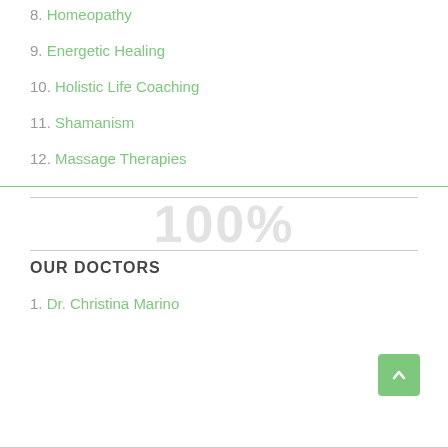8. Homeopathy
9. Energetic Healing
10. Holistic Life Coaching
11. Shamanism
12. Massage Therapies
OUR DOCTORS
1. Dr. Christina Marino